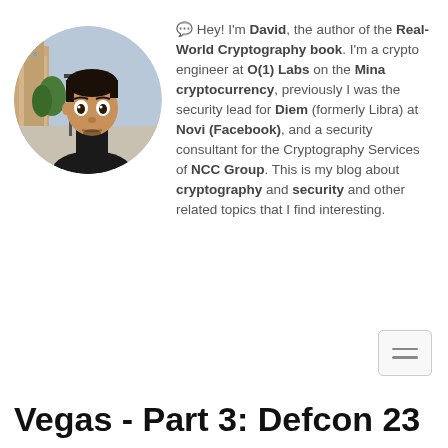[Figure (photo): Circular profile photo of a young man with dark hair making a wide-eyed expression, outdoors in an urban setting with trees and buildings in the background.]
💬 Hey! I'm David, the author of the Real-World Cryptography book. I'm a crypto engineer at O(1) Labs on the Mina cryptocurrency, previously I was the security lead for Diem (formerly Libra) at Novi (Facebook), and a security consultant for the Cryptography Services of NCC Group. This is my blog about cryptography and security and other related topics that I find interesting.
[Figure (other): Hamburger menu button icon (three horizontal lines) in a rounded rectangle border]
Vegas - Part 3: Defcon 23